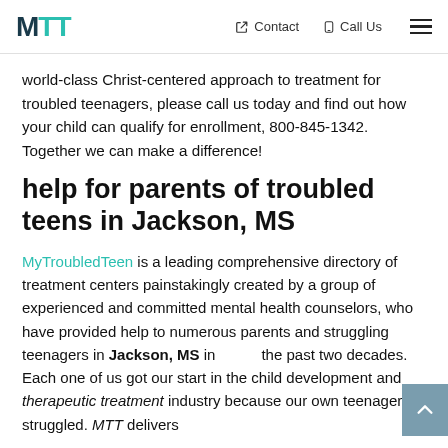MTT | Contact | Call Us
world-class Christ-centered approach to treatment for troubled teenagers, please call us today and find out how your child can qualify for enrollment, 800-845-1342. Together we can make a difference!
help for parents of troubled teens in Jackson, MS
MyTroubledTeen is a leading comprehensive directory of treatment centers painstakingly created by a group of experienced and committed mental health counselors, who have provided help to numerous parents and struggling teenagers in Jackson, MS in the past two decades. Each one of us got our start in the child development and therapeutic treatment industry because our own teenager struggled. MTT delivers